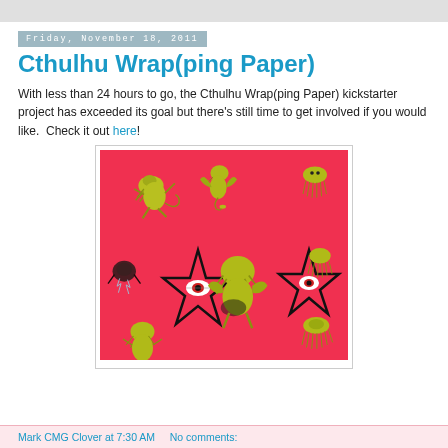Friday, November 18, 2011
Cthulhu Wrap(ping Paper)
With less than 24 hours to go, the Cthulhu Wrap(ping Paper) kickstarter project has exceeded its goal but there's still time to get involved if you would like.  Check it out here!
[Figure (illustration): Red wrapping paper with yellow-green Cthulhu creature illustrations and black star/eye symbols scattered across it]
Mark CMG Clover at 7:30 AM    No comments: